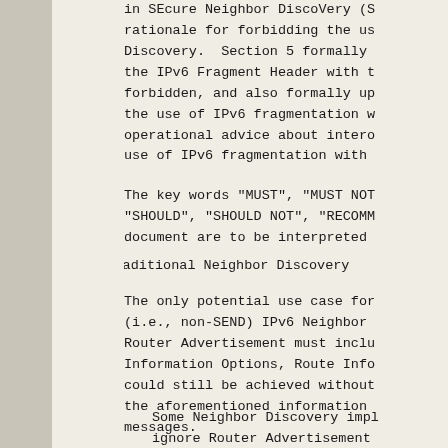in SEcure Neighbor DiscoVery (S
rationale for forbidding the us
Discovery.  Section 5 formally
the IPv6 Fragment Header with t
forbidden, and also formally up
the use of IPv6 fragmentation w
operational advice about intero
use of IPv6 fragmentation with
The key words "MUST", "MUST NOT
"SHOULD", "SHOULD NOT", "RECOMM
document are to be interpreted
2.  Traditional Neighbor Discovery
The only potential use case for
(i.e., non-SEND) IPv6 Neighbor
Router Advertisement must inclu
Information Options, Route Info
could still be achieved without
the aforementioned information
messages.
Some Neighbor Discovery impl
ignore Router Advertisement